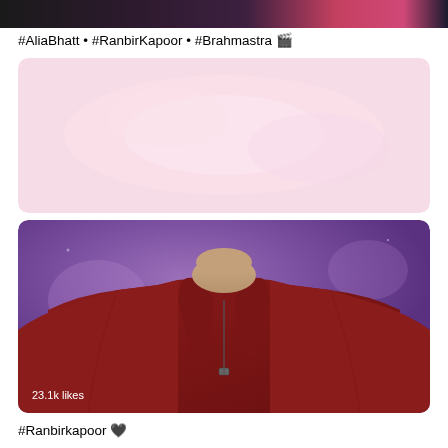[Figure (photo): Top portion of a social media post image, partially cropped, showing two people on a colorful background]
#AliaBhatt • #RanbirKapoor • #Brahmastra 🎬
[Figure (photo): Blurred/redacted content area in the middle of the social media page]
[Figure (photo): Photo of a man wearing a dark maroon/burgundy zip-up polo shirt against a purple background, showing torso and neck. Overlay text shows '23.1k likes']
#Ranbirkapoor 🖤